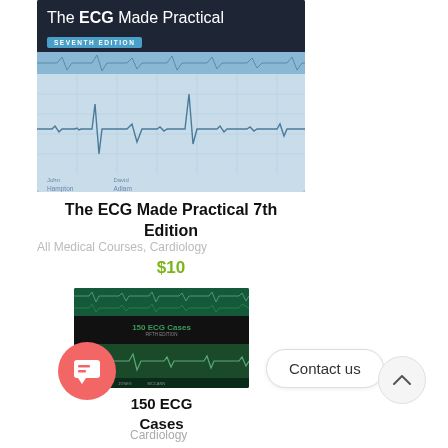[Figure (illustration): Book cover of 'The ECG Made Practical Seventh Edition' showing ECG waveform on blue background with authors John Hampton and David Adler]
The ECG Made Practical 7th Edition
All Medical Courses, Cardiology
$10
[Figure (illustration): Book cover of '150 ECG Cases' showing ECG strips on dark green/black background]
150 ECG Cases
Contact us
Cardiology